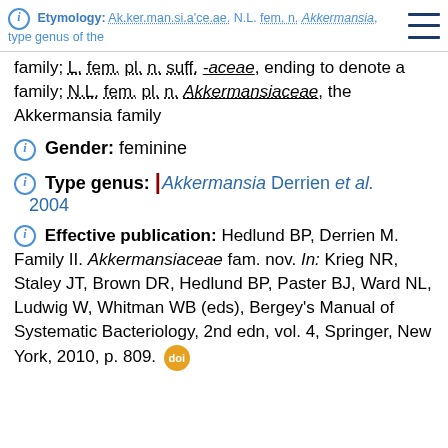ⓘ Etymology: Ak.ker.man.si.a'ce.ae. N.L. fem. n. Akkermansia, type genus of the family; L. fem. pl. n. suff. -aceae, ending to denote a family; N.L. fem. pl. n. Akkermansiaceae, the Akkermansia family
ⓘ Gender: feminine
ⓘ Type genus: | Akkermansia Derrien et al. 2004
ⓘ Effective publication: Hedlund BP, Derrien M. Family II. Akkermansiaceae fam. nov. In: Krieg NR, Staley JT, Brown DR, Hedlund BP, Paster BJ, Ward NL, Ludwig W, Whitman WB (eds), Bergey's Manual of Systematic Bacteriology, 2nd edn, vol. 4, Springer, New York, 2010, p. 809. DOI